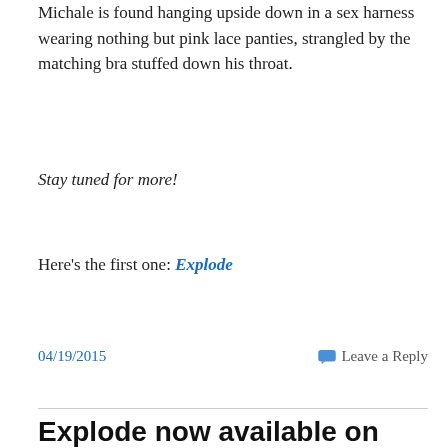Michale is found hanging upside down in a sex harness wearing nothing but pink lace panties, strangled by the matching bra stuffed down his throat.
Stay tuned for more!
Here's the first one: Explode
04/19/2015
Leave a Reply
Explode now available on
Privacy & Cookies: This site uses cookies. By continuing to use this website, you agree to their use. To find out more, including how to control cookies, see here: Cookie Policy
Close and accept
leave a review!